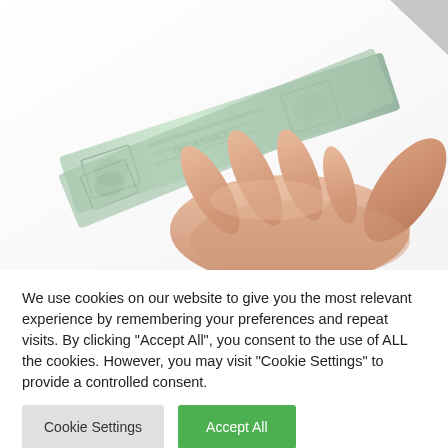[Figure (photo): A hand holding US dollar bills (100-dollar notes) against a white background, photo partially cropped showing fingers and money from a side angle.]
We use cookies on our website to give you the most relevant experience by remembering your preferences and repeat visits. By clicking "Accept All", you consent to the use of ALL the cookies. However, you may visit "Cookie Settings" to provide a controlled consent.
Cookie Settings
Accept All